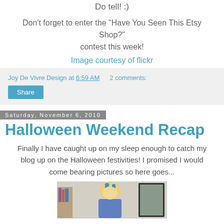Do tell! :)
Don't forget to enter the "Have You Seen This Etsy Shop?" contest this week!
Image courtesy of flickr
Joy De Vivre Design at 6:59 AM   2 comments:
Share
Saturday, November 6, 2010
Halloween Weekend Recap
Finally I have caught up on my sleep enough to catch my blog up on the Halloween festivities! I promised I would come bearing pictures so here goes...
[Figure (photo): A photo of a blonde woman in a Halloween costume, partially visible at the bottom of the page]